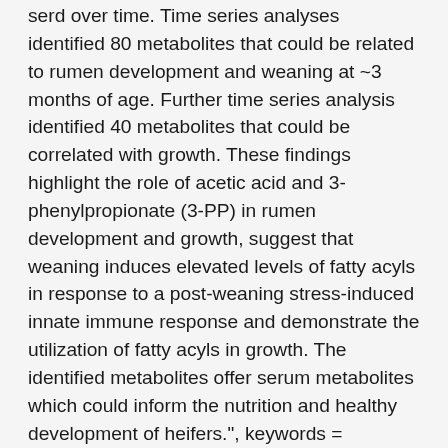serd over time. Time series analyses identified 80 metabolites that could be related to rumen development and weaning at ~3 months of age. Further time series analysis identified 40 metabolites that could be correlated with growth. These findings highlight the role of acetic acid and 3-phenylpropionate (3-PP) in rumen development and growth, suggest that weaning induces elevated levels of fatty acyls in response to a post-weaning stress-induced innate immune response and demonstrate the utilization of fatty acyls in growth. The identified metabolites offer serum metabolites which could inform the nutrition and healthy development of heifers.", keywords = "metabolomics, fatty acids, eicosanoids, rumen development, weaning, growth, IMMUNE-RESPONSES, DAIRY HEIFERS, MILK, PERFORMANCE, METABOLISM, HEALTH, BIRTH, GRAIN, TIME, COWS",